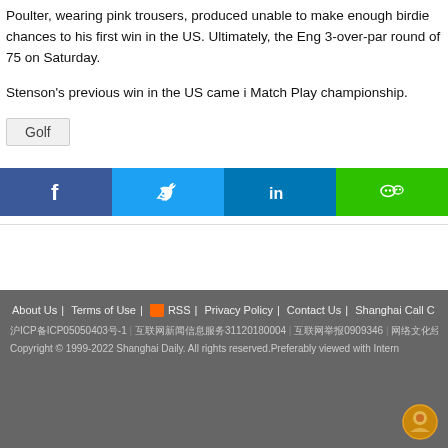Poulter, wearing pink trousers, produced unable to make enough birdie chances to his first win in the US. Ultimately, the Eng 3-over-par round of 75 on Saturday.
Stenson's previous win in the US came i Match Play championship.
Golf
[Figure (other): Social sharing buttons: Facebook, Twitter, LinkedIn, WeChat]
About Us | Terms of Use | RSS | Privacy Policy | Contact Us | Shanghai Call C
沪ICP备ICP05050403号-1 | 互联网新闻信息服务31120180004 | 互联网举报0909346 | 网络文化经营许可证35
Copyright © 1999-2022 Shanghai Daily. All rights reserved.Preferably viewed with Intern